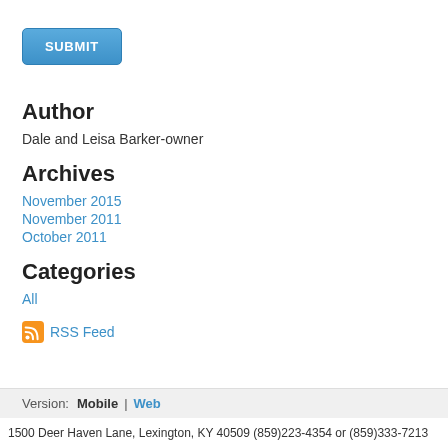[Figure (other): Blue SUBMIT button]
Author
Dale and Leisa Barker-owner
Archives
November 2015
November 2011
October 2011
Categories
All
RSS Feed
Version:  Mobile  |  Web
1500 Deer Haven Lane, Lexington, KY 40509 (859)223-4354 or (859)333-7213